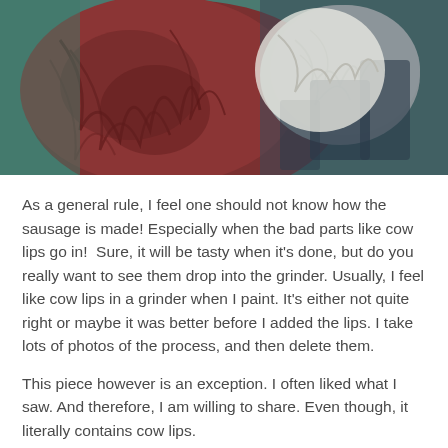[Figure (illustration): Close-up painting of cow anatomy — on the left a large dark reddish-brown textured mass (organ/tissue), on the right a white form with wrinkles against a dark blue-grey background with shadowed shapes.]
As a general rule, I feel one should not know how the sausage is made! Especially when the bad parts like cow lips go in!  Sure, it will be tasty when it's done, but do you really want to see them drop into the grinder. Usually, I feel like cow lips in a grinder when I paint. It's either not quite right or maybe it was better before I added the lips. I take lots of photos of the process, and then delete them.
This piece however is an exception. I often liked what I saw. And therefore, I am willing to share. Even though, it literally contains cow lips.
The piece is based of a photo I took outside of Jensen, Utah of a cow grazing. When I approached it